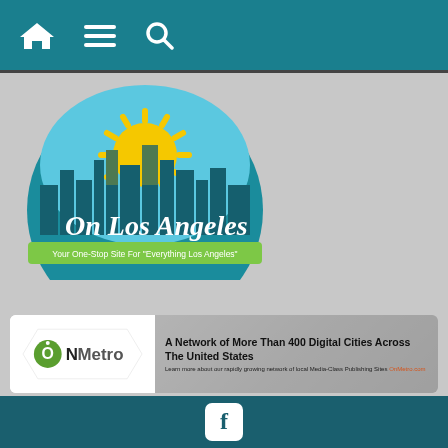[Figure (screenshot): Website navigation bar with home, menu, and search icons on teal background]
[Figure (logo): On Los Angeles logo - circular badge with skyline, sun rays, teal and yellow colors, with text 'On Los Angeles' and tagline 'Your One-Stop Site For Everything Los Angeles']
[Figure (logo): ONMetro banner ad - 'A Network of More Than 400 Digital Cities Across The United States. Learn more about our rapidly growing network of local Media-Class Publishing Sites OnMetro.com']
Home » Reviews » Movie Reviews » The Do-Over (Review: The Suicide Squad)
[Figure (logo): Facebook icon in white rounded square on dark teal footer background]